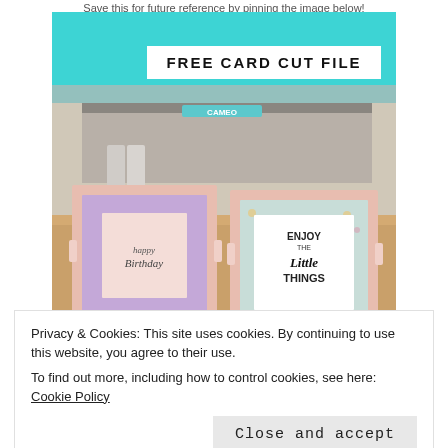Save this for future reference by pinning the image below!
[Figure (photo): Photo of two handmade greeting cards displayed in front of a Silhouette CAMEO cutting machine on a wooden surface. Left card has 'Happy Birthday' sentiment with floral patterned paper. Right card says 'Enjoy the Little Things'. Above the photo is a white banner reading 'FREE CARD CUT FILE' on a teal background.]
Privacy & Cookies: This site uses cookies. By continuing to use this website, you agree to their use.
To find out more, including how to control cookies, see here: Cookie Policy
Close and accept
Free Silhouette